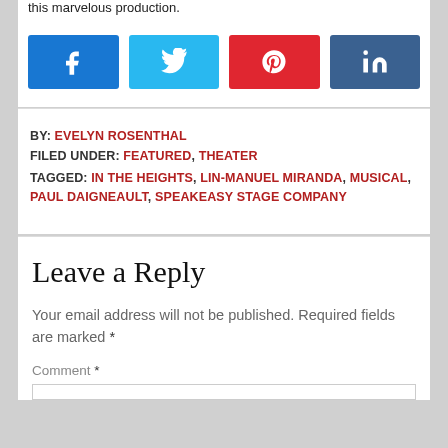this marvelous production.
[Figure (other): Social share buttons: Facebook (blue), Twitter (light blue), Pinterest (red), LinkedIn (dark blue)]
BY: EVELYN ROSENTHAL
FILED UNDER: FEATURED, THEATER
TAGGED: IN THE HEIGHTS, LIN-MANUEL MIRANDA, MUSICAL, PAUL DAIGNEAULT, SPEAKEASY STAGE COMPANY
Leave a Reply
Your email address will not be published. Required fields are marked *
Comment *